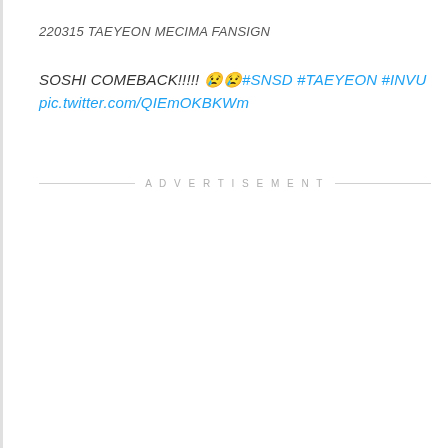220315 TAEYEON MECIMA FANSIGN
SOSHI COMEBACK!!!!! 😢😢#SNSD #TAEYEON #INVU pic.twitter.com/QIEmOKBKWm
ADVERTISEMENT